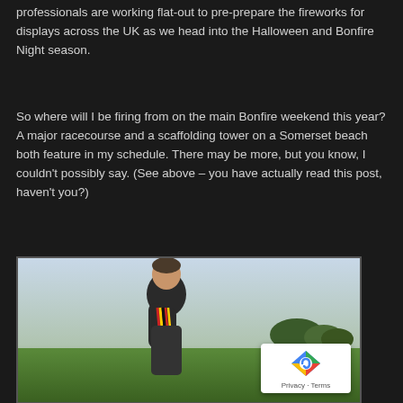professionals are working flat-out to pre-prepare the fireworks for displays across the UK as we head into the Halloween and Bonfire Night season.
So where will I be firing from on the main Bonfire weekend this year? A major racecourse and a scaffolding tower on a Somerset beach both feature in my schedule. There may be more, but you know, I couldn't possibly say. (See above – you have actually read this post, haven't you?)
[Figure (photo): A man in a dark sweater standing outdoors on a green field, holding a bundle of colourful (red, yellow, black) cables or ignition wires for fireworks. Behind him is a green field with firework tubes/mortars in the background, trees on the horizon, and a cloudy sky. There is a green machine visible in the background and rows of mortar tubes at bottom right.]